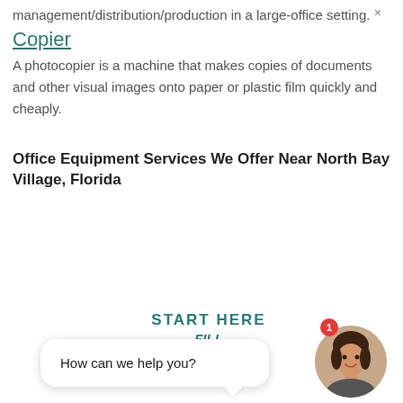management/distribution/production in a large-office setting.
Copier
A photocopier is a machine that makes copies of documents and other visual images onto paper or plastic film quickly and cheaply.
Office Equipment Services We Offer Near North Bay Village, Florida
START HERE
FILL
[Figure (screenshot): Chat widget showing a smiling woman avatar with a notification badge showing '1', a speech bubble saying 'How can we help you?', and a close X button.]